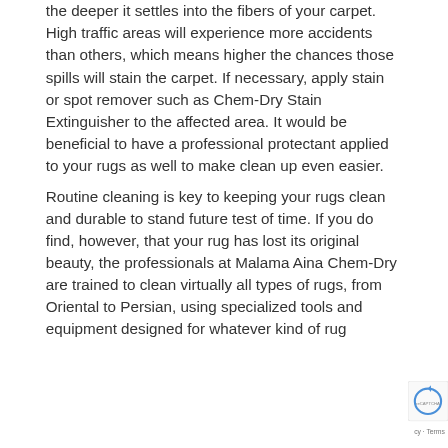the deeper it settles into the fibers of your carpet. High traffic areas will experience more accidents than others, which means higher the chances those spills will stain the carpet. If necessary, apply stain or spot remover such as Chem-Dry Stain Extinguisher to the affected area. It would be beneficial to have a professional protectant applied to your rugs as well to make clean up even easier.
Routine cleaning is key to keeping your rugs clean and durable to stand future test of time. If you do find, however, that your rug has lost its original beauty, the professionals at Malama Aina Chem-Dry are trained to clean virtually all types of rugs, from Oriental to Persian, using specialized tools and equipment designed for whatever kind of rug